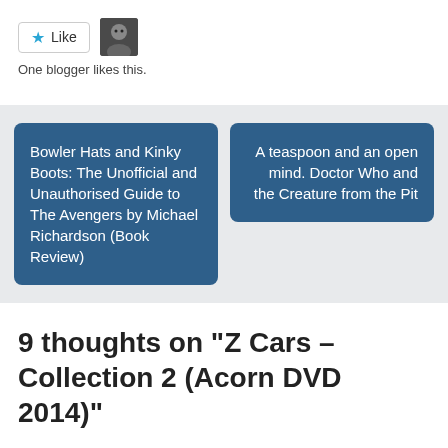[Figure (other): Like button with star icon and small blogger avatar photo]
One blogger likes this.
Bowler Hats and Kinky Boots: The Unofficial and Unauthorised Guide to The Avengers by Michael Richardson (Book Review)
A teaspoon and an open mind. Doctor Who and the Creature from the Pit
9 thoughts on “Z Cars – Collection 2 (Acorn DVD 2014)”
publiceyemarker
May 28, 2019 at 12:26 pm